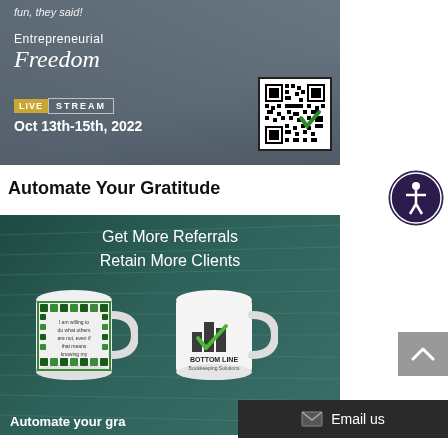[Figure (photo): Promotional banner image for Entrepreneurial Freedom Live Stream, Oct 13th-15th 2022, with woman packing boxes in background and QR code in bottom right corner.]
Automate Your Gratitude
[Figure (photo): Advertisement image on teal/dark green textured background showing two white mugs - one with decorative pattern and quote, one with Bottom Line Bookkeeping Solutions logo. Text reads: Get More Referrals, Retain More Clients, Automate your gra...]
Email us